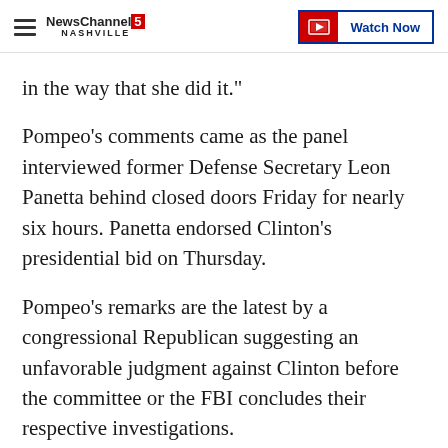NewsChannel 5 Nashville | Watch Now
in the way that she did it."
Pompeo's comments came as the panel interviewed former Defense Secretary Leon Panetta behind closed doors Friday for nearly six hours. Panetta endorsed Clinton's presidential bid on Thursday.
Pompeo's remarks are the latest by a congressional Republican suggesting an unfavorable judgment against Clinton before the committee or the FBI concludes their respective investigations.
House Majority Leader Kevin McCarthy, R-Calif., said last fall that the Benghazi panel could take credit for Clinton's recent drop in public opinion polls. He later